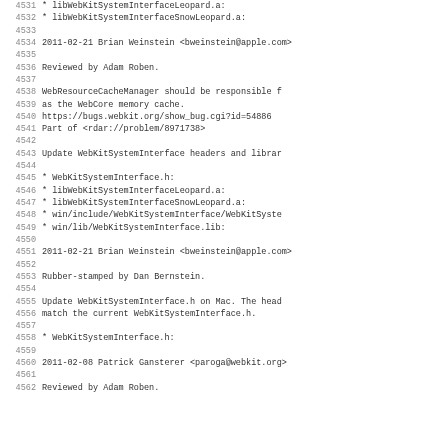4531        * libWebKitSystemInterfaceLeopard.a:
4532        * libWebKitSystemInterfaceSnowLeopard.a:
4533
4534 2011-02-21  Brian Weinstein  <bweinstein@apple.com>
4535
4536        Reviewed by Adam Roben.
4537
4538        WebResourceCacheManager should be responsible f
4539        as the WebCore memory cache.
4540        https://bugs.webkit.org/show_bug.cgi?id=54886
4541        Part of <rdar://problem/8971738>
4542
4543        Update WebKitSystemInterface headers and librar
4544
4545        * WebKitSystemInterface.h:
4546        * libWebKitSystemInterfaceLeopard.a:
4547        * libWebKitSystemInterfaceSnowLeopard.a:
4548        * win/include/WebKitSystemInterface/WebKitSyste
4549        * win/lib/WebKitSystemInterface.lib:
4550
4551 2011-02-21  Brian Weinstein  <bweinstein@apple.com>
4552
4553        Rubber-stamped by Dan Bernstein.
4554
4555        Update WebKitSystemInterface.h on Mac. The head
4556        match the current WebKitSystemInterface.h.
4557
4558        * WebKitSystemInterface.h:
4559
4560 2011-02-08  Patrick Gansterer  <paroga@webkit.org>
4561
4562        Reviewed by Adam Roben.